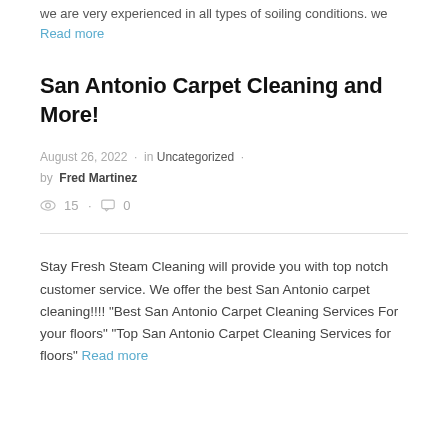we are very experienced in all types of soiling conditions. we Read more
San Antonio Carpet Cleaning and More!
August 26, 2022 · in Uncategorized · by Fred Martinez
👁 15 · 💬 0
Stay Fresh Steam Cleaning will provide you with top notch customer service. We offer the best San Antonio carpet cleaning!!!! "Best San Antonio Carpet Cleaning Services For your floors" "Top San Antonio Carpet Cleaning Services for floors" Read more